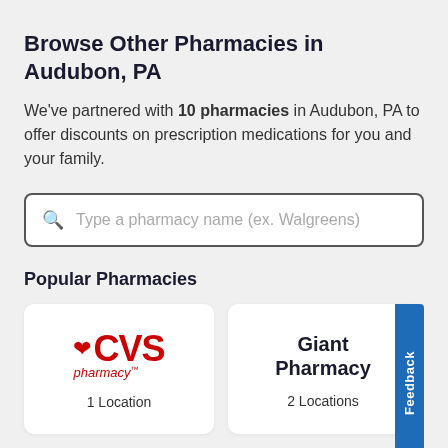Browse Other Pharmacies in Audubon, PA
We've partnered with 10 pharmacies in Audubon, PA to offer discounts on prescription medications for you and your family.
[Figure (screenshot): Search input box with magnifying glass icon and placeholder text 'Type a pharmacy name (ex. Walgreens)']
Popular Pharmacies
[Figure (logo): CVS pharmacy logo with red heart and CVS text in red, pharmacy label below]
1 Location
[Figure (logo): Giant Pharmacy logo text in dark navy bold]
2 Locations